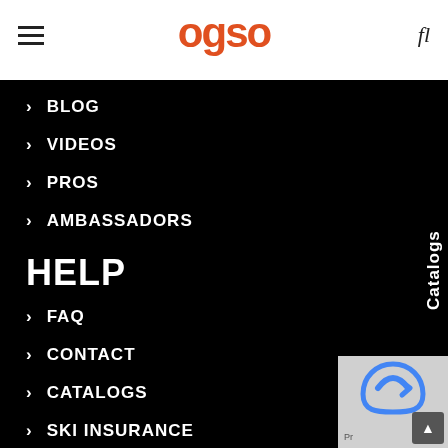ogsc logo with hamburger menu and search icon
BLOG
VIDEOS
PROS
AMBASSADORS
HELP
FAQ
CONTACT
CATALOGS
SKI INSURANCE
Catalogs